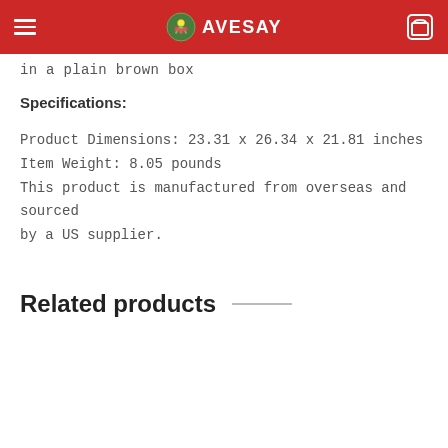AVESAY
in a plain brown box
Specifications:
Product Dimensions: 23.31 x 26.34 x 21.81 inches
Item Weight: 8.05 pounds
This product is manufactured from overseas and sourced by a US supplier.
Related products